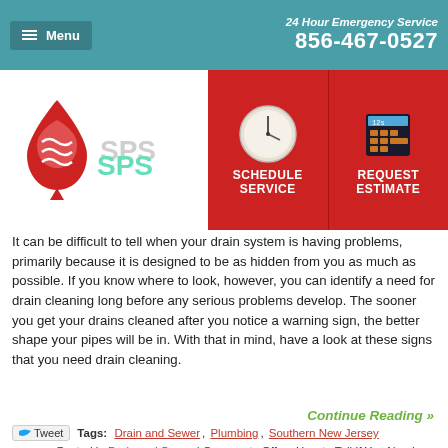Menu | 24 Hour Emergency Service 856-467-0527
[Figure (logo): SPS plumbing company logo with water drop icon]
[Figure (other): Schedule Service button with clock icon and Request Estimate button with calculator icon]
It can be difficult to tell when your drain system is having problems, primarily because it is designed to be as hidden from you as much as possible. If you know where to look, however, you can identify a need for drain cleaning long before any serious problems develop. The sooner you get your drains cleaned after you notice a warning sign, the better shape your pipes will be in. With that in mind, have a look at these signs that you need drain cleaning.
Continue Reading »
Tags: Drain and Sewer, Plumbing, Southern New Jersey
Posted in Drain and Sewer | Comments Off on How to Tell If You Need Drain Cleaning
Signs That You Need a New Air